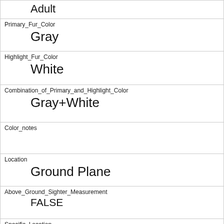| Adult |
| Primary_Fur_Color | Gray |
| Highlight_Fur_Color | White |
| Combination_of_Primary_and_Highlight_Color | Gray+White |
| Color_notes |  |
| Location | Ground Plane |
| Above_Ground_Sighter_Measurement | FALSE |
| Specific_Location |  |
| Running | 0 |
| Chasing | 0 |
| Climbing | 0 |